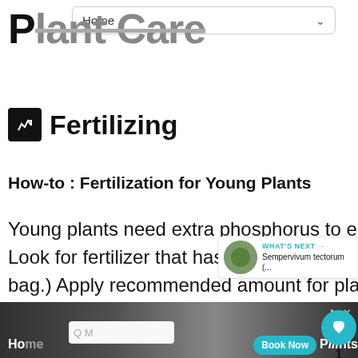Home
Plant Care
Fertilizing
How-to : Fertilization for Young Plants
Young plants need extra phosphorus to encourage good root development. Look for fertilizer that has phosphorus, P, in it(the second number on the bag.) Apply recommended amount for plant per label directions in the soil at time of planting, at least during the first growing season.
WHAT'S NEXT → Sempervivum tectorum (...)